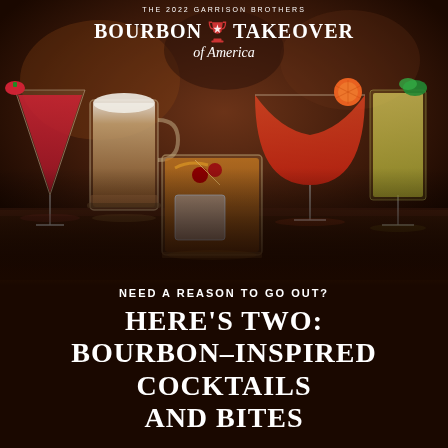[Figure (photo): Multiple bourbon cocktails arranged on a dark bar surface: a red cocktail, a hot toddy in a glass mug, an old fashioned with cherry and orange garnish in center foreground, a red/orange coupe cocktail with orange slice garnish, and a yellow cocktail. Dark moody bar background.]
THE 2022 GARRISON BROTHERS BOURBON TAKEOVER OF AMERICA
NEED A REASON TO GO OUT?
HERE'S TWO: BOURBON–INSPIRED COCKTAILS AND BITES